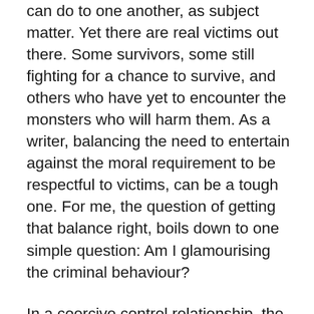can do to one another, as subject matter. Yet there are real victims out there. Some survivors, some still fighting for a chance to survive, and others who have yet to encounter the monsters who will harm them. As a writer, balancing the need to entertain against the moral requirement to be respectful to victims, can be a tough one. For me, the question of getting that balance right, boils down to one simple question: Am I glamourising the criminal behaviour?
In a coercive control relationship, the behaviour can take a number of different forms. These are usually long term relationships, and often they form a circular loop.